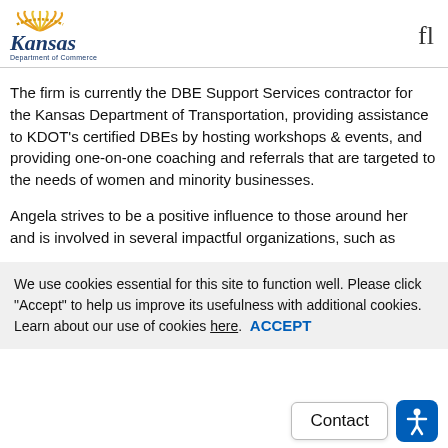Kansas Department of Commerce | fl
The firm is currently the DBE Support Services contractor for the Kansas Department of Transportation, providing assistance to KDOT's certified DBEs by hosting workshops & events, and providing one-on-one coaching and referrals that are targeted to the needs of women and minority businesses.
Angela strives to be a positive influence to those around her and is involved in several impactful organizations, such as
We use cookies essential for this site to function well. Please click "Accept" to help us improve its usefulness with additional cookies. Learn about our use of cookies here.  ACCEPT